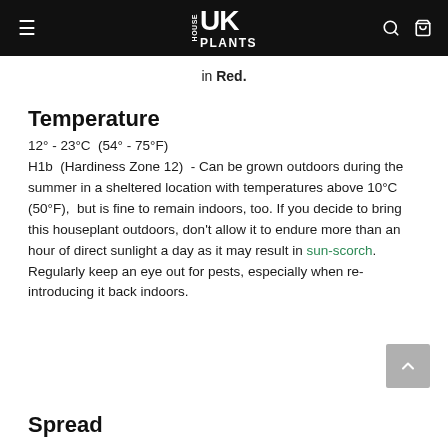House UK Plants
in Red.
Temperature
12° - 23°C  (54° - 75°F)
H1b  (Hardiness Zone 12)  - Can be grown outdoors during the summer in a sheltered location with temperatures above 10°C  (50°F),  but is fine to remain indoors, too. If you decide to bring this houseplant outdoors, don't allow it to endure more than an hour of direct sunlight a day as it may result in sun-scorch. Regularly keep an eye out for pests, especially when re-introducing it back indoors.
Spread